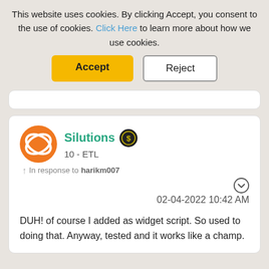This website uses cookies. By clicking Accept, you consent to the use of cookies. Click Here to learn more about how we use cookies.
Accept
Reject
Silutions
10 - ETL
In response to harikm007
02-04-2022 10:42 AM
DUH! of course I added as widget script. So used to doing that. Anyway, tested and it works like a champ.